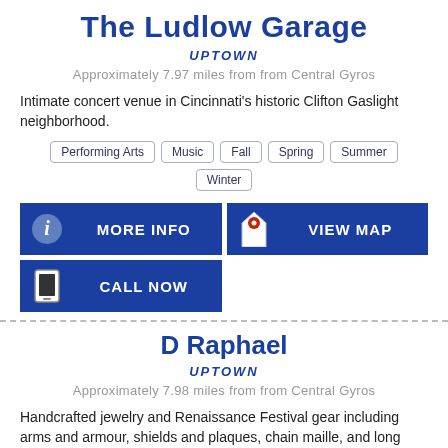The Ludlow Garage
UPTOWN
Approximately 7.97 miles from from Central Gyros
Intimate concert venue in Cincinnati's historic Clifton Gaslight neighborhood.
Performing Arts  Music  Fall  Spring  Summer  Winter
MORE INFO
VIEW MAP
CALL NOW
D Raphael
UPTOWN
Approximately 7.98 miles from from Central Gyros
Handcrafted jewelry and Renaissance Festival gear including arms and armour, shields and plaques, chain maille, and long bows and cross b...